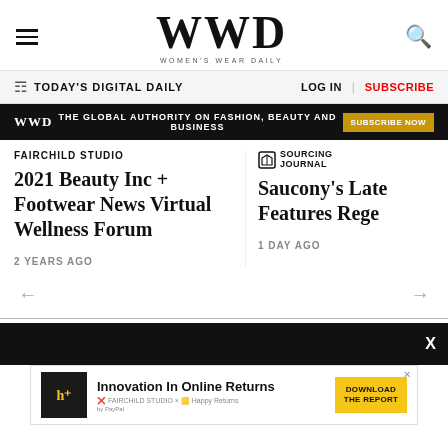WWD WOMEN'S WEAR DAILY
TODAY'S DIGITAL DAILY | LOG IN | SUBSCRIBE
WWD THE GLOBAL AUTHORITY ON FASHION, BEAUTY AND BUSINESS SUBSCRIBE NOW
2021 Beauty Inc + Footwear News Virtual Wellness Forum
FAIRCHILD STUDIO
2 YEARS AGO
Saucony's Late Features Rege
SOURCING JOURNAL
1 DAY AGO
[Figure (other): Advertisement banner: Innovation In Online Returns, DOWNLOAD THE REPORT, Fairchild Studio x Happy Returns]